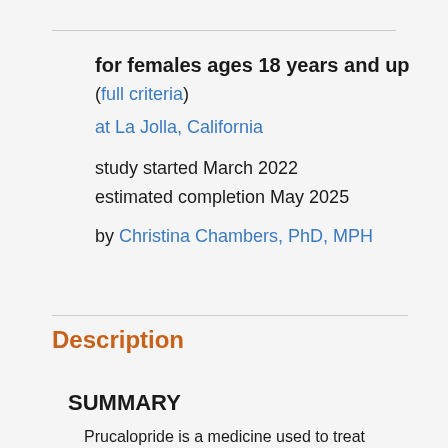for females ages 18 years and up
(full criteria)
at La Jolla, California
study started March 2022
estimated completion May 2025
by Christina Chambers, PhD, MPH
Description
SUMMARY
Prucalopride is a medicine used to treat